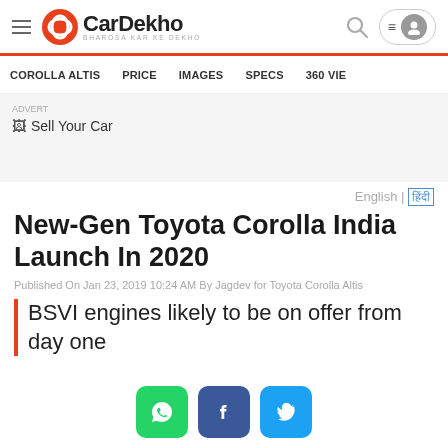CarDekho | BHAROSA KAR KE DEKHO
COROLLA ALTIS   PRICE   IMAGES   SPECS   360 VIE
[Figure (other): Sell Your Car banner placeholder with broken image icon]
English | हिंदी
New-Gen Toyota Corolla India Launch In 2020
Published On Jan 23, 2019 10:24 AM By Jagdev for Toyota Corolla Altis
BSVI engines likely to be on offer from day one